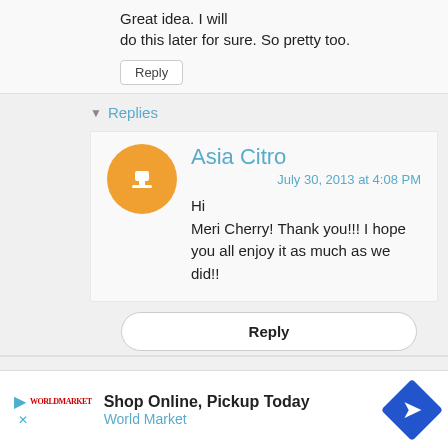Great idea. I will do this later for sure. So pretty too.
Reply
Replies
Asia Citro
July 30, 2013 at 4:08 PM
Hi Meri Cherry! Thank you!!! I hope you all enjoy it as much as we did!!
Reply
katepickle August 1, 2013 at 5:54 PM
Shop Online, Pickup Today World Market